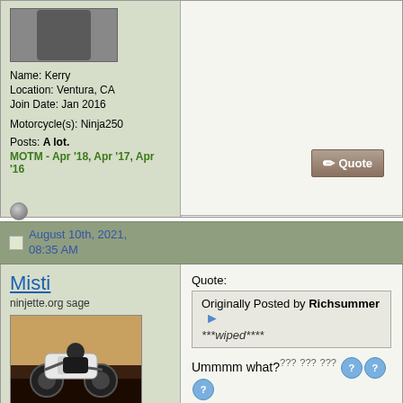Name: Kerry
Location: Ventura, CA
Join Date: Jan 2016
Motorcycle(s): Ninja250
Posts: A lot.
MOTM - Apr '18, Apr '17, Apr '16
[Figure (screenshot): Quote button with pencil icon]
August 10th, 2021, 08:35 AM
Misti
ninjette.org sage
[Figure (photo): Motorcycle racer on track, number 401, white and black bike]
Name: Misti
Location: Vancouver, BC
Join Date: Oct 2010
Motorcycle(s): currently:
Quote:
Originally Posted by Richsummer
***wiped****
Ummmm what? [confused emojis]
"Leap and the net will appear!"
superbikeschool.com
www.motomom.ca